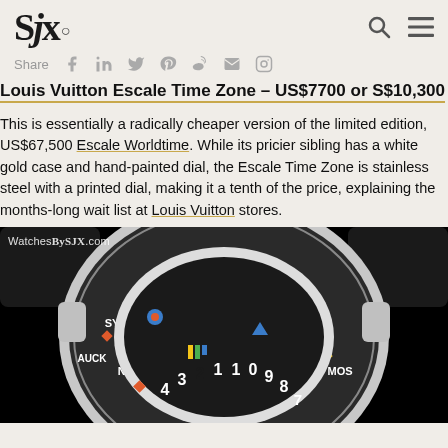SJX
Share
Louis Vuitton Escale Time Zone – US$7700 or S$10,300
This is essentially a radically cheaper version of the limited edition, US$67,500 Escale Worldtime. While its pricier sibling has a white gold case and hand-painted dial, the Escale Time Zone is stainless steel with a printed dial, making it a tenth of the price, explaining the months-long wait list at Louis Vuitton stores.
[Figure (photo): Close-up photo of a Louis Vuitton Escale Time Zone watch face showing colorful geometric patterns and city abbreviations (SYD, TYO, BEI, BAN, DHA, KAR, MOS, NOU, AUCK) around the dial with numbers 7-14 visible. WatchesBySJX.com watermark in top left.]